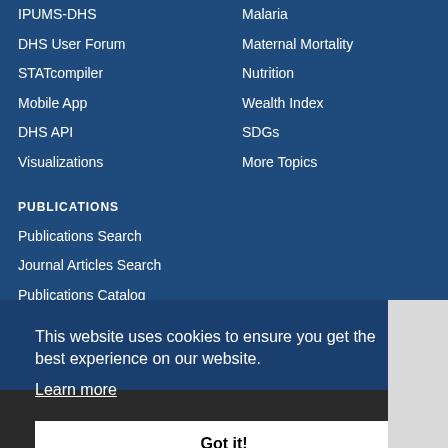IPUMS-DHS
DHS User Forum
STATcompiler
Mobile App
DHS API
Visualizations
Gender
Malaria
Maternal Mortality
Nutrition
Wealth Index
SDGs
More Topics
PUBLICATIONS
Publications Search
Journal Articles Search
Publications Catalog
This website uses cookies to ensure you get the best experience on our website.
Learn more
Got it!